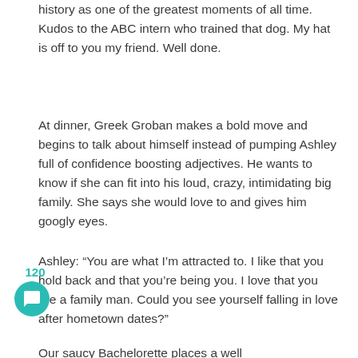history as one of the greatest moments of all time. Kudos to the ABC intern who trained that dog. My hat is off to you my friend. Well done.
At dinner, Greek Groban makes a bold move and begins to talk about himself instead of pumping Ashley full of confidence boosting adjectives. He wants to know if she can fit into his loud, crazy, intimidating big family. She says she would love to and gives him googly eyes.
Ashley: “You are what I’m attracted to. I like that you hold back and that you’re being you. I love that you are a family man. Could you see yourself falling in love after hometown dates?”
Our saucy Bachelorette places a well...